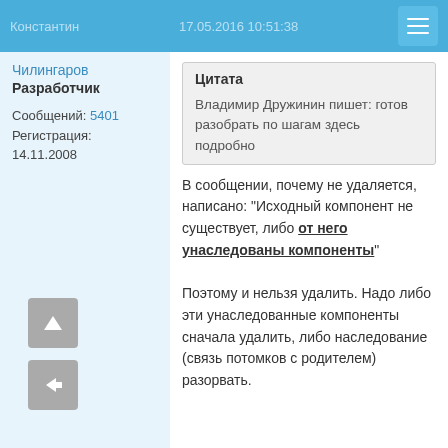Константин  17.05.2016 10:51:38
Чилингаров
Разработчик
Сообщений: 5401
Регистрация: 14.11.2008
Цитата
Владимир Дружинин пишет: готов разобрать по шагам здесь подробно
В сообщении, почему не удаляется, написано: "Исходный компонент не существует, либо от него унаследованы компоненты"

Поэтому и нельзя удалить. Надо либо эти унаследованные компоненты сначала удалить, либо наследование (связь потомков с родителем) разорвать.